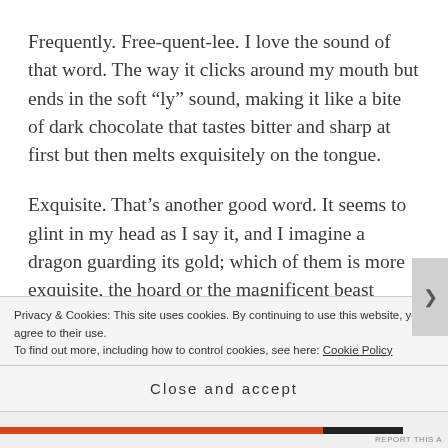Frequently. Free-quent-lee. I love the sound of that word. The way it clicks around my mouth but ends in the soft “ly” sound, making it like a bite of dark chocolate that tastes bitter and sharp at first but then melts exquisitely on the tongue.
Exquisite. That’s another good word. It seems to glint in my head as I say it, and I imagine a dragon guarding its gold; which of them is more exquisite, the hoard or the magnificent beast sitting near it, eyes burning almost as much as its mouth, flames
Privacy & Cookies: This site uses cookies. By continuing to use this website, you agree to their use.
To find out more, including how to control cookies, see here: Cookie Policy
Close and accept